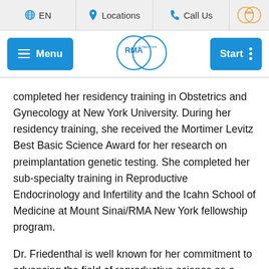EN  Locations  Call Us
[Figure (logo): RMA of New York logo — two overlapping blue circles with RMA of New York text]
completed her residency training in Obstetrics and Gynecology at New York University. During her residency training, she received the Mortimer Levitz Best Basic Science Award for her research on preimplantation genetic testing. She completed her sub-specialty training in Reproductive Endocrinology and Infertility and the Icahn School of Medicine at Mount Sinai/RMA New York fellowship program.
Dr. Friedenthal is well known for her commitment to advancing the field of reproductive science as a passionate clinician-scientist. She has published dozens